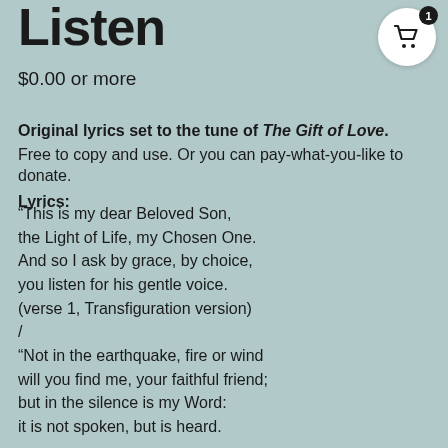Listen
$0.00 or more
Original lyrics set to the tune of The Gift of Love. Free to copy and use. Or you can pay-what-you-like to donate.
Lyrics:
“This is my dear Beloved Son,
the Light of Life, my Chosen One.
And so I ask by grace, by choice,
you listen for his gentle voice.
(verse 1, Transfiguration version)
/
“Not in the earthquake, fire or wind
will you find me, your faithful friend;
but in the silence is my Word:
it is not spoken, but is heard.